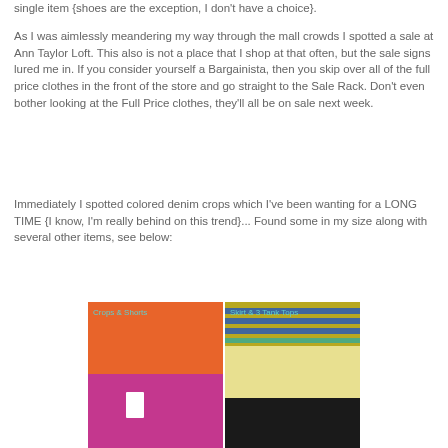single item {shoes are the exception, I don't have a choice}.
As I was aimlessly meandering my way through the mall crowds I spotted a sale at Ann Taylor Loft.  This also is not a place that I shop at that often, but the sale signs lured me in. If you consider yourself a Bargainista, then you skip over all of the full price clothes in the front of the store and go straight to the Sale Rack.  Don't even bother looking at the Full Price clothes, they'll all be on sale next week.
Immediately I spotted colored denim crops which I've been wanting for a LONG TIME {I know, I'm really behind on this trend}... Found some in my size along with several other items, see below:
[Figure (photo): Two side-by-side photos of clothing items purchased at Ann Taylor Loft. Left photo labeled 'Crops & Shorts' shows orange and pink/magenta colored denim crops. Right photo labeled 'Skirt & 3 Tank Tops' shows striped and solid colored tank tops and a skirt.]